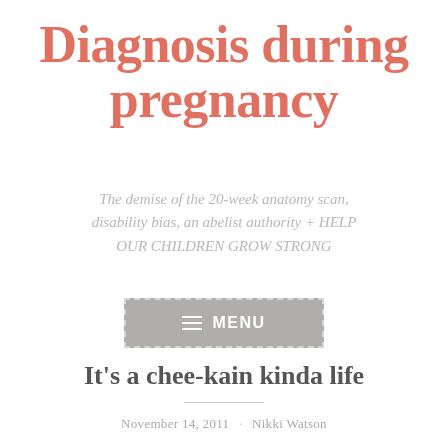Diagnosis during pregnancy
The demise of the 20-week anatomy scan, disability bias, an abelist authority + HELP OUR CHILDREN GROW STRONG
[Figure (other): Navigation menu button with dashed border and hamburger icon, labeled MENU]
It’s a chee-kain kinda life
November 14, 2011 · Nikki Watson